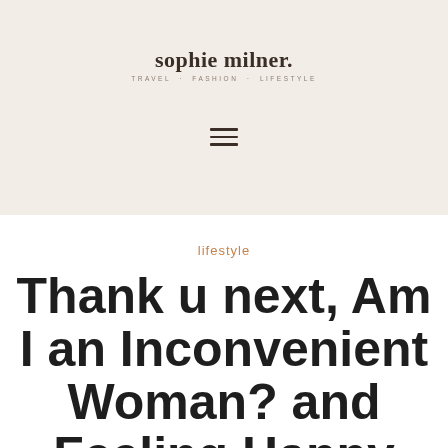sophie milner. TRAVEL · FASHION · LIFESTYLE
[Figure (other): Hamburger menu icon (three horizontal lines)]
lifestyle
Thank u next, Am I an Inconvenient Woman? and Feeling Happy Again